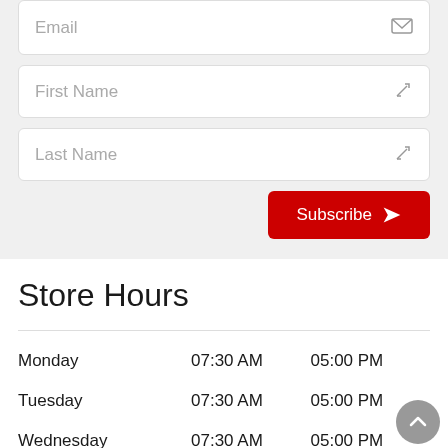Email
First Name
Last Name
Subscribe
Store Hours
| Day | Open | Close |
| --- | --- | --- |
| Monday | 07:30 AM | 05:00 PM |
| Tuesday | 07:30 AM | 05:00 PM |
| Wednesday | 07:30 AM | 05:00 PM |
| Thursday | 07:30 AM | 05:00 PM |